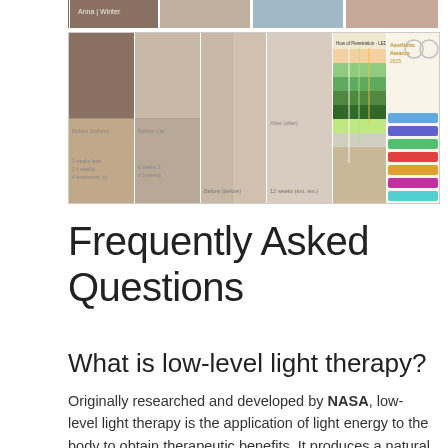[Figure (photo): Horizontal strip of before/after photos showing skin treatment results, a skin layer diagram of LED light therapy penetration, and product award badges.]
Frequently Asked Questions
What is low-level light therapy?
Originally researched and developed by NASA, low-level light therapy is the application of light energy to the body to obtain therapeutic benefits. It produces a natural photo-biochemcial reaction similar to the process of plant photosynthesis, and has a wide range